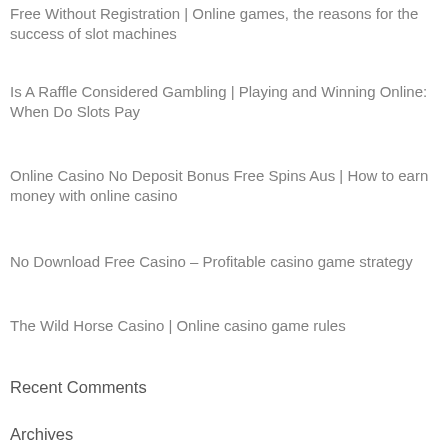Free Without Registration | Online games, the reasons for the success of slot machines
Is A Raffle Considered Gambling | Playing and Winning Online: When Do Slots Pay
Online Casino No Deposit Bonus Free Spins Aus | How to earn money with online casino
No Download Free Casino – Profitable casino game strategy
The Wild Horse Casino | Online casino game rules
Recent Comments
Archives